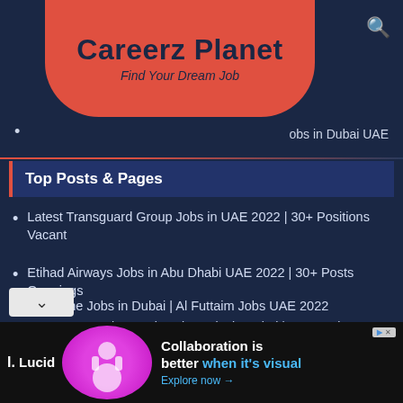Careerz Planet — Find Your Dream Job
Jobs in Dubai UAE
Top Posts & Pages
Latest Transguard Group Jobs in UAE 2022 | 30+ Positions Vacant
Etihad Airways Jobs in Abu Dhabi UAE 2022 | 30+ Posts Openings
Part Time Jobs in Dubai | Al Futtaim Jobs UAE 2022
Accor Careers | Housekeeping Jobs in Dubai | Intern Jobs 2022
Area Manager Jobs in Dubai | Amazon Careers UAE | 2022 Jobs
Transguard Careers | Tableau Developer Jobs in Dubai UAE
[Figure (infographic): Advertisement banner for Lucid with text: Collaboration is better when it's visual. Explore now →]